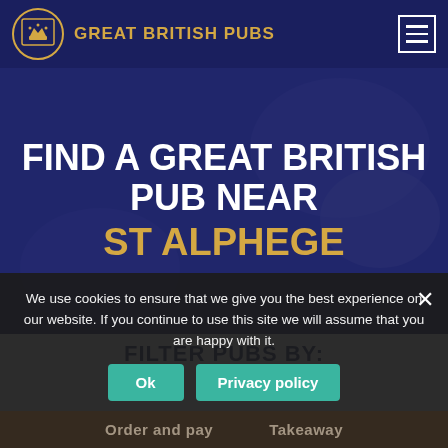GREAT BRITISH PUBS
FIND A GREAT BRITISH PUB NEAR ST ALPHEGE
FILTER PUBS BY:
We use cookies to ensure that we give you the best experience on our website. If you continue to use this site we will assume that you are happy with it.
Ok
Privacy policy
Order and pay · Takeaway